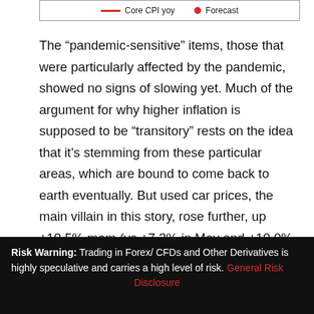[Figure (other): Legend bar showing Core CPI yoy (red line) and Forecast (red dot) for a chart above]
The “pandemic-sensitive” items, those that were particularly affected by the pandemic, showed no signs of slowing yet. Much of the argument for why higher inflation is supposed to be “transitory” rests on the idea that it’s stemming from these particular areas, which are bound to come back to earth eventually. But used car prices, the main villain in this story, rose further, up +10.5% mom (vs +7.3% in May and +10.0% in April).
[Figure (other): Partial view of a chart titled 'Prices hit by the pandemic' with BDSwiss branding, showing y-axis label '50 %']
Risk Warning: Trading in Forex/ CFDs and Other Derivatives is highly speculative and carries a high level of risk. General Risk Disclosure